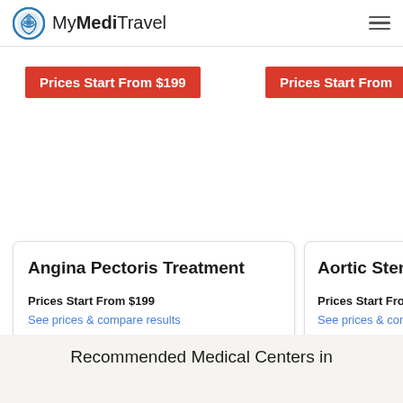MyMediTravel
Prices Start From $199
Prices Start From
Angina Pectoris Treatment
Prices Start From $199
See prices & compare results
Aortic Stenos
Prices Start From $5
See prices & comp
Recommended Medical Centers in